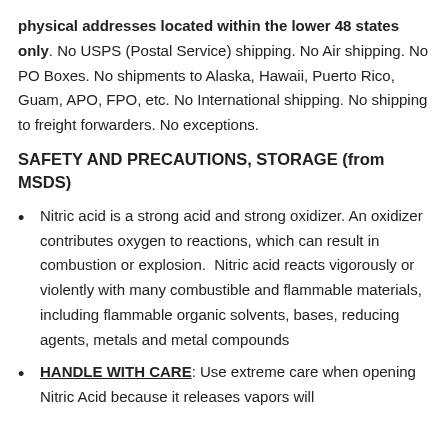physical addresses located within the lower 48 states only. No USPS (Postal Service) shipping. No Air shipping. No PO Boxes. No shipments to Alaska, Hawaii, Puerto Rico, Guam, APO, FPO, etc. No International shipping. No shipping to freight forwarders. No exceptions.
SAFETY AND PRECAUTIONS, STORAGE (from MSDS)
Nitric acid is a strong acid and strong oxidizer. An oxidizer contributes oxygen to reactions, which can result in combustion or explosion. Nitric acid reacts vigorously or violently with many combustible and flammable materials, including flammable organic solvents, bases, reducing agents, metals and metal compounds
HANDLE WITH CARE: Use extreme care when opening Nitric Acid because it releases vapors will...